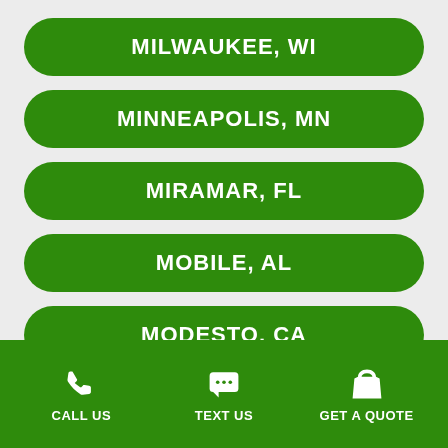MILWAUKEE, WI
MINNEAPOLIS, MN
MIRAMAR, FL
MOBILE, AL
MODESTO, CA
MONTGOMERY, AL
CALL US   TEXT US   GET A QUOTE